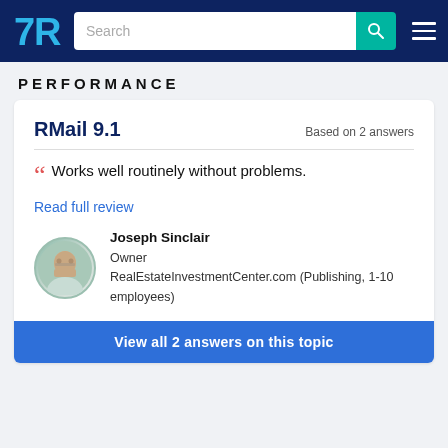TrustRadius — Search bar and navigation
PERFORMANCE
RMail 9.1
Based on 2 answers
Works well routinely without problems.
Read full review
Joseph Sinclair
Owner
RealEstateInvestmentCenter.com (Publishing, 1-10 employees)
View all 2 answers on this topic